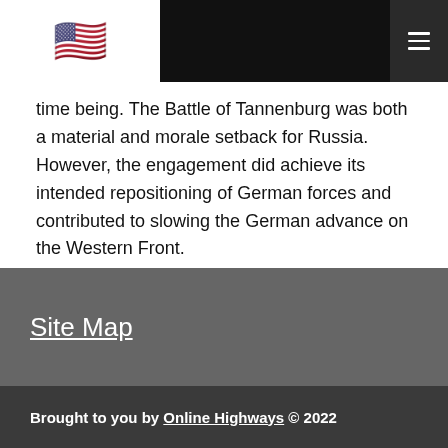🇺🇸 [navigation header with flag and hamburger menu]
time being. The Battle of Tannenburg was both a material and morale setback for Russia. However, the engagement did achieve its intended repositioning of German forces and contributed to slowing the German advance on the Western Front.
See World War I Time Table.
Site Map
Brought to you by Online Highways © 2022